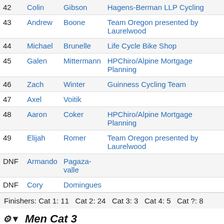| # | First | Last | Team |
| --- | --- | --- | --- |
| 42 | Colin | Gibson | Hagens-Berman LLP Cycling |
| 43 | Andrew | Boone | Team Oregon presented by Laurelwood |
| 44 | Michael | Brunelle | Life Cycle Bike Shop |
| 45 | Galen | Mittermann | HPChiro/Alpine Mortgage Planning |
| 46 | Zach | Winter | Guinness Cycling Team |
| 47 | Axel | Voitik |  |
| 48 | Aaron | Coker | HPChiro/Alpine Mortgage Planning |
| 49 | Elijah | Romer | Team Oregon presented by Laurelwood |
| DNF | Armando | Pagaza-valle |  |
| DNF | Cory | Domingues |  |
Finishers: Cat 1: 11   Cat 2: 24   Cat 3: 3   Cat 4: 5   Cat ?: 8
Men Cat 3
Classes: All |